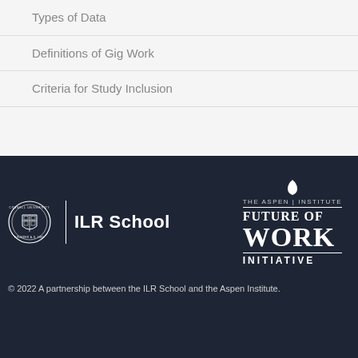Types of Data
Definitions of Gig Work
Criteria for Study Inclusion
[Figure (logo): Cornell University ILR School logo with Cornell seal and ILR School text in white on dark navy background]
[Figure (logo): The Aspen Institute Future of Work Initiative logo with leaf icon in white on dark navy background]
© 2022 A partnership between the ILR School and the Aspen Institute.